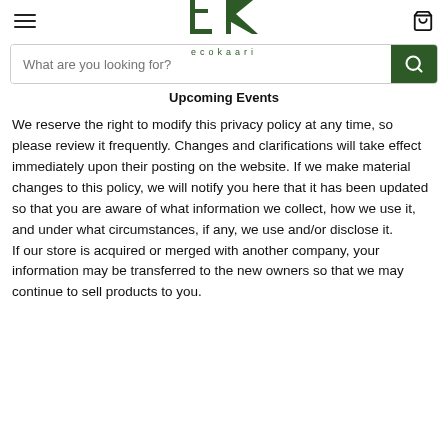[Figure (logo): Ecokaari logo with stylized EK letters in dark green and 'ecokaari' text below]
Upcoming Events
We reserve the right to modify this privacy policy at any time, so please review it frequently. Changes and clarifications will take effect immediately upon their posting on the website. If we make material changes to this policy, we will notify you here that it has been updated so that you are aware of what information we collect, how we use it, and under what circumstances, if any, we use and/or disclose it.
If our store is acquired or merged with another company, your information may be transferred to the new owners so that we may continue to sell products to you.